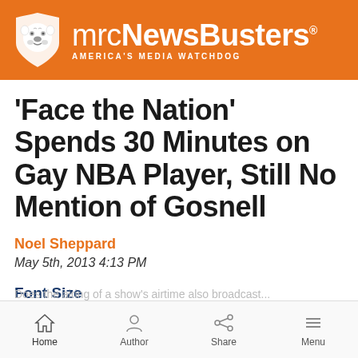[Figure (logo): mrcNewsBusters logo with bulldog shield and tagline AMERICA'S MEDIA WATCHDOG on orange background]
'Face the Nation' Spends 30 Minutes on Gay NBA Player, Still No Mention of Gosnell
Noel Sheppard
May 5th, 2013 4:13 PM
Font Size
[Figure (screenshot): Font size increase and decrease buttons in blue]
Home  Author  Share  Menu